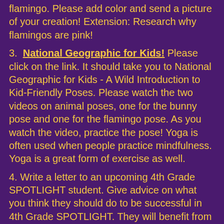flamingo.  Please add color and send a picture of your creation!  Extension:  Research why flamingos are pink!
3.  National Geographic for Kids!  Please click on the link.  It should take you to National Geographic for Kids - A Wild Introduction to Kid-Friendly Poses.  Please watch the two videos on animal poses, one for the bunny pose and one for the flamingo pose.  As you watch the video, practice the pose!  Yoga is often used when people practice mindfulness.  Yoga is a great form of exercise as well.
4. Write a letter to an upcoming 4th Grade SPOTLIGHT student.  Give advice on what you think they should do to be successful in 4th Grade SPOTLIGHT.  They will benefit from your wise words!  Please follow the format for a friendly letter.  Take a picture of your letter and send it to Mrs.